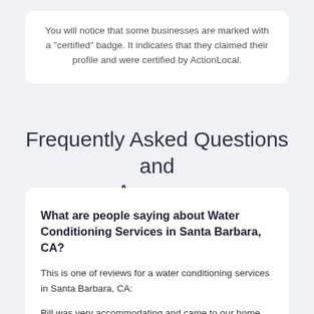You will notice that some businesses are marked with a "certified" badge. It indicates that they claimed their profile and were certified by ActionLocal.
Frequently Asked Questions and Answers
What are people saying about Water Conditioning Services in Santa Barbara, CA?
This is one of reviews for a water conditioning services in Santa Barbara, CA:
Bill was very accommodating and came to our home and explained the difference between what they offer and Culligan. After a couple of days we decided on Rayne Water. We had a scheduled appt and the gentleman came in to installed the tank and we had decided to change the